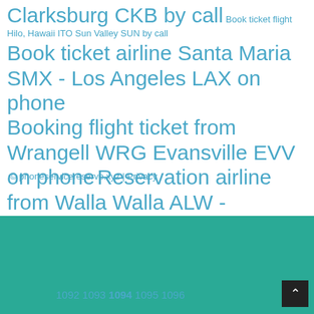Clarksburg CKB by call Book ticket flight Hilo, Hawaii ITO Sun Valley SUN by call Book ticket airline Santa Maria SMX - Los Angeles LAX on phone Booking flight ticket from Wrangell WRG Evansville EVV on phone Reservation airline from Walla Walla ALW - Vieques VQS by the phone Book ticket flight Minot MOT to Lake Charles LCH over call Changing flight Lawton LAW to Denver DEN over call
© phoneservicereserve.xyz | Privacy
1092 1093 1094 1095 1096